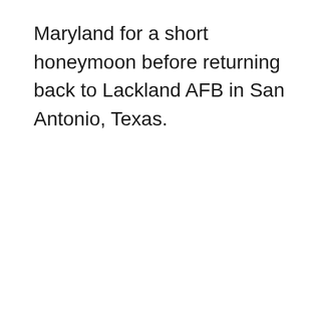Maryland for a short honeymoon before returning back to Lackland AFB in San Antonio, Texas.